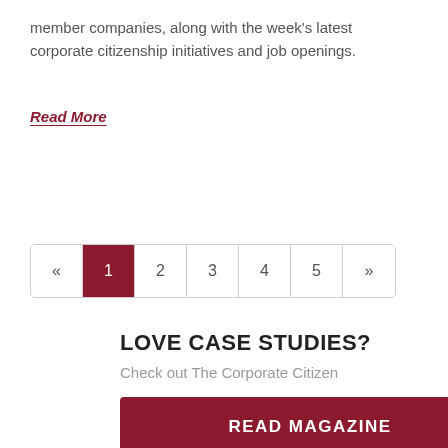member companies, along with the week's latest corporate citizenship initiatives and job openings.
Read More
[Figure (other): Pagination control with buttons: « 1 2 3 4 5 », page 1 active with dark red background]
LOVE CASE STUDIES?
Check out The Corporate Citizen
READ MAGAZINE